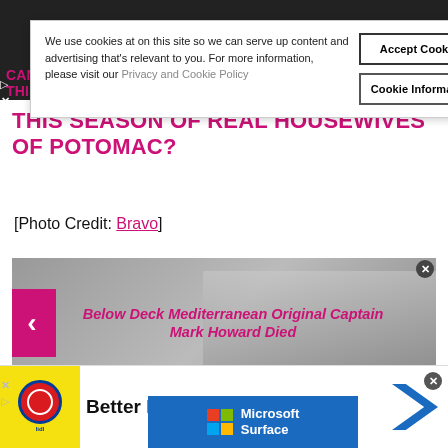We use cookies at on this site so we can serve up content and advertising that's relevant to you. For more information, please visit our Privacy and Cookie Policy
Accept Cookies
Cookie Information
CANDIACE? WILL KAREN & RAY LAST? WAS WENDY FAKE THIS SEASON? DID YOU ENJOY THIS SEASON OF REAL HOUSEWIVES OF POTOMAC?
[Photo Credit: Bravo]
[Figure (photo): Carousel image showing two figures on a boat/yacht interior, grayscale, with pink left arrow navigation and pink italic text overlay reading 'Below Deck Mediterranean Original Captain Mark Howard Died']
Below Deck Mediterranean Original Captain Mark Howard Died
[Figure (infographic): Bottom advertisement banner showing Lidl logo with 'Better Food. Betterer Prices' text and a Microsoft Surface overlay ad with colorful Windows logo]